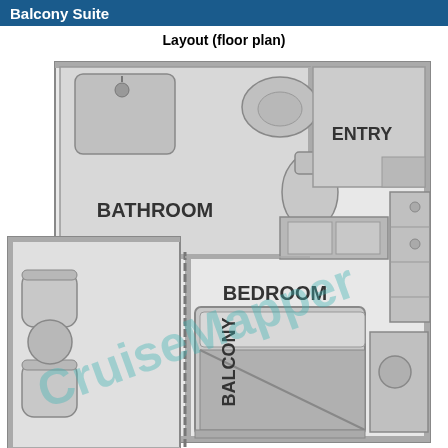Balcony Suite
Layout (floor plan)
[Figure (schematic): Floor plan of a Balcony Suite showing BATHROOM (top left), BEDROOM (center), BALCONY (left side), ENTRY (top right). The bathroom contains a bathtub/sink, toilet, and counter. The bedroom contains a bed, wardrobe, and dresser. The balcony has two chairs and a small table. Entry area is at upper right with closet.]